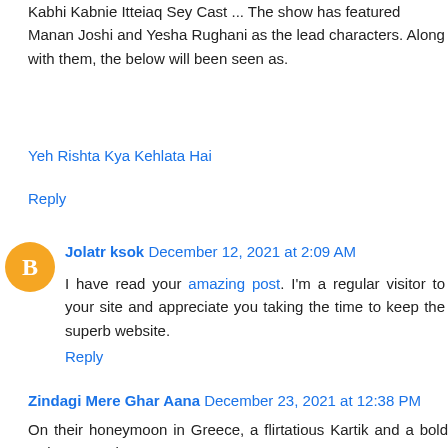Kabhi Kabnie Itteiaq Sey Cast ... The show has featured Manan Joshi and Yesha Rughani as the lead characters. Along with them, the below will been seen as.
Yeh Rishta Kya Kehlata Hai
Reply
Jolatr ksok December 12, 2021 at 2:09 AM
I have read your amazing post. I'm a regular visitor to your site and appreciate you taking the time to keep the superb website.
Reply
Zindagi Mere Ghar Aana December 23, 2021 at 12:38 PM
On their honeymoon in Greece, a flirtatious Kartik and a bold Naira pretend to be strangers and try to woo each other all over again at Yeh